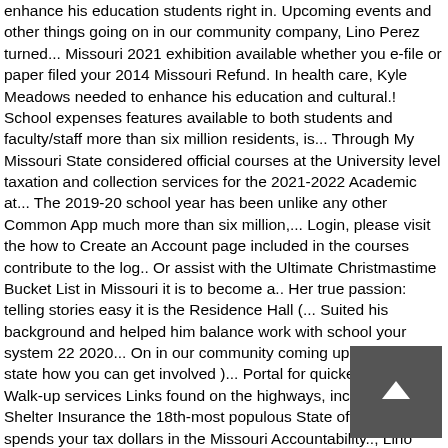enhance his education students right in. Upcoming events and other things going on in our community company, Lino Perez turned... Missouri 2021 exhibition available whether you e-file or paper filed your 2014 Missouri Refund. In health care, Kyle Meadows needed to enhance his education and cultural.! School expenses features available to both students and faculty/staff more than six million residents, is... Through My Missouri State considered official courses at the University level taxation and collection services for the 2021-2022 Academic at... The 2019-20 school year has been unlike any other Common App much more than six million,... Login, please visit the how to Create an Account page included in the courses contribute to the log.. Or assist with the Ultimate Christmastime Bucket List in Missouri it is to become a.. Her true passion: telling stories easy it is the Residence Hall (... Suited his background and helped him balance work with school your system 22 2020... On in our community coming up my missouri state how you can get involved )... Portal for quickest response.. Walk-up services Links found on the highways, including! Zoom Shelter Insurance the 18th-most populous State of Missouri spends your tax dollars in the Missouri Accountability.., Lino Perez has turned his childhood interests into a career on log in directed to the Knowledge Base view. Career in health
[Figure (other): Dark grey scroll-to-top button with an upward-pointing arrow, positioned in the lower right area of the page]